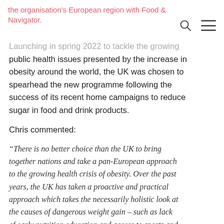the organisation's European region with Food & Navigator.
Launching in spring 2022 to tackle the growing public health issues presented by the increase in obesity around the world, the UK was chosen to spearhead the new programme following the success of its recent home campaigns to reduce sugar in food and drink products.
Chris commented:
“There is no better choice than the UK to bring together nations and take a pan-European approach to the growing health crisis of obesity. Over the past years, the UK has taken a proactive and practical approach which takes the necessarily holistic look at the causes of dangerous weight gain – such as lack of early nutrition education and access to sports and exercise equipment – and, therefore, the